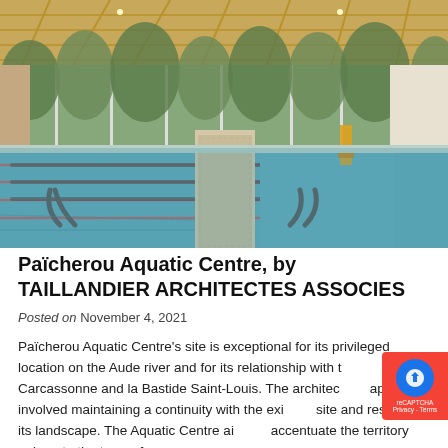[Figure (photo): Interior of Païcherou Aquatic Centre showing an indoor swimming pool with lane dividers, a central walkway, large floor-to-ceiling windows overlooking greenery, and a wood-paneled ceiling with recessed lighting. A yellow water slide is visible in the background.]
Païcherou Aquatic Centre, by TAILLANDIER ARCHITECTES ASSOCIES
Posted on November 4, 2021
Païcherou Aquatic Centre's site is exceptional for its privileged location on the Aude river and for its relationship with the city of Carcassonne and la Bastide Saint-Louis. The architectural approach involved maintaining a continuity with the existing site and respecting its landscape. The Aquatic Centre aims to accentuate the territory unique to the town of